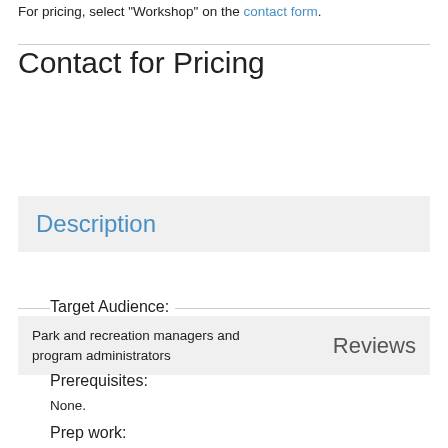For pricing, select "Workshop" on the contact form.
Contact for Pricing
Description
Target Audience:
Park and recreation managers and program administrators
Reviews
Prerequisites:
None.
Prep work: